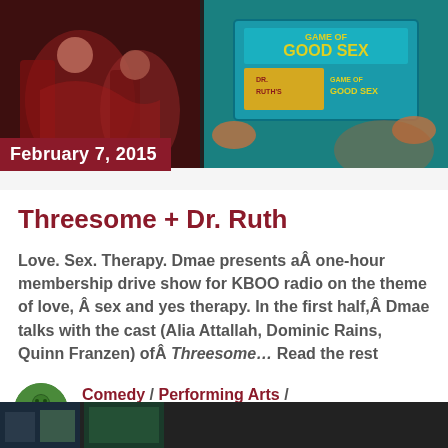[Figure (photo): Two-panel photo banner: left panel shows theatrical scene with performers in red/dark costumes; right panel shows someone holding a blue board game box labeled 'Game of Good Sex' and 'Dr. Ruth's Game of Good Sex']
February 7, 2015
Threesome + Dr. Ruth
Love. Sex. Therapy. Dmae presents aÂ one-hour membership drive show for KBOO radio on the theme of love,Â sex and yes therapy. In the first half,Â Dmae talks with the cast (Alia Attallah, Dominic Rains, Quinn Franzen) ofÂ Threesome... Read the rest
Comedy / Performing Arts / Playwrights / Theatre
[Figure (photo): Bottom thumbnail strip showing partial images]